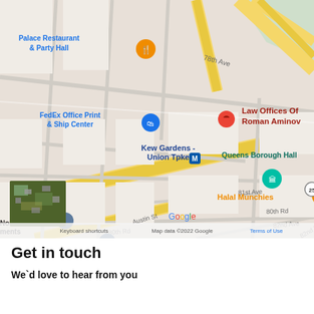[Figure (map): Google Maps screenshot showing Kew Gardens area, Queens, NY. Shows Law Offices Of Roman Aminov marked with a red pin near the intersection of Union Turnpike and 78th Ave. Nearby landmarks include FedEx Office Print & Ship Center, Palace Restaurant & Party Hall, Kew Gardens - Union Tpke subway station (M train), Queens Borough Hall, Halal Munchies, and Sparta Arts. Street names visible: 78th Ave, Austin St, 80th Rd, 80th Rd, 81st Ave, 82nd Ave, 82nd Rd. Map data ©2022 Google. Includes zoom controls (+/-) and satellite thumbnail.]
Get in touch
We`d love to hear from you